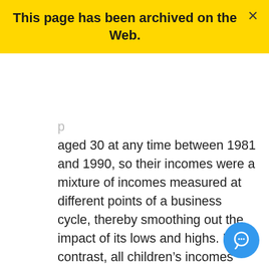This page has been archived on the Web.
aged 30 at any time between 1981 and 1990, so their incomes were a mixture of incomes measured at different points of a business cycle, thereby smoothing out the impact of its lows and highs. In contrast, all children's incomes were measured in 2009 and were, therefore, affected by the weakness of the economy in that year.